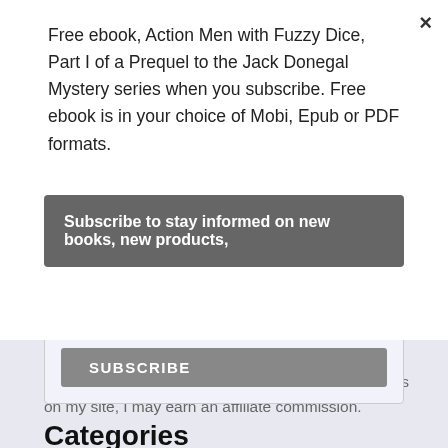Free ebook, Action Men with Fuzzy Dice, Part I of a Prequel to the Jack Donegal Mystery series when you subscribe. Free ebook is in your choice of Mobi, Epub or PDF formats.
Subscribe to stay informed on new books, new products,
new books, products, events and other fun stuff.
email address
SUBSCRIBE
I am an Amazon affiliate. When you buy through links on my site, I may earn an affiliate commission.
Categories